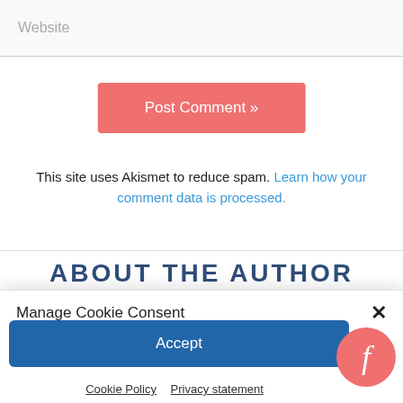Website
Post Comment »
This site uses Akismet to reduce spam. Learn how your comment data is processed.
ABOUT THE AUTHOR
Manage Cookie Consent
We use cookies to optimize our website and our service.
Accept
Cookie Policy   Privacy statement